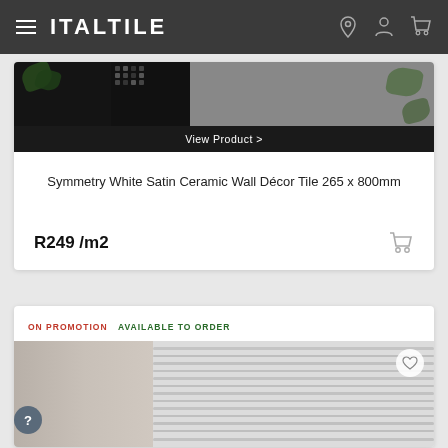ITALTILE
[Figure (screenshot): Product image strip showing tiles with green plant leaves and mosaic pattern tiles on dark background]
View Product >
Symmetry White Satin Ceramic Wall Décor Tile 265 x 800mm
R249 /m2
ON PROMOTION  AVAILABLE TO ORDER
[Figure (photo): White ceramic wall tile with horizontal relief/ripple texture pattern, partial vertical element visible on left]